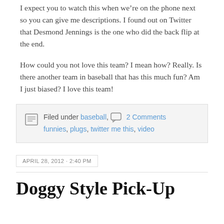I expect you to watch this when we’re on the phone next so you can give me descriptions. I found out on Twitter that Desmond Jennings is the one who did the back flip at the end.
How could you not love this team? I mean how? Really. Is there another team in baseball that has this much fun? Am I just biased? I love this team!
Filed under baseball, 2 Comments funnies, plugs, twitter me this, video
APRIL 28, 2012 · 2:40 PM
Doggy Style Pick-Up